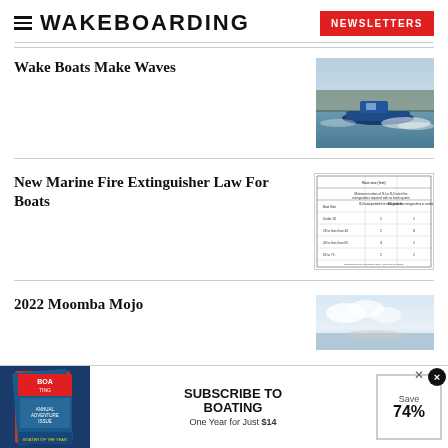WAKEBOARDING
Wake Boats Make Waves
[Figure (photo): A blue wake boat speeding across a lake creating large waves]
New Marine Fire Extinguisher Law For Boats
[Figure (table-as-image): A table showing fire extinguisher requirements for boats by size]
2022 Moomba Mojo
[Figure (photo): A boat on a lake, partial view]
[Figure (infographic): Subscribe to Boating advertisement - One Year for Just $14, Save 74%]